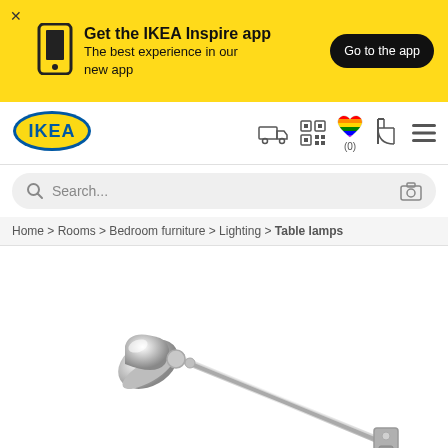[Figure (screenshot): IKEA app promotion banner on yellow background with phone icon, headline 'Get the IKEA Inspire app', subtitle 'The best experience in our new app', and 'Go to the app' button]
[Figure (logo): IKEA blue and yellow oval logo]
[Figure (screenshot): IKEA website navigation bar with truck/delivery icon, QR code icon, rainbow heart wishlist icon with (0), shopping cart icon, and hamburger menu icon]
[Figure (screenshot): Search bar with magnifying glass icon and camera icon on right]
Home > Rooms > Bedroom furniture > Lighting > Table lamps
[Figure (photo): Silver/chrome adjustable IKEA desk table lamp with articulated arm, shown extended diagonally across a white background]